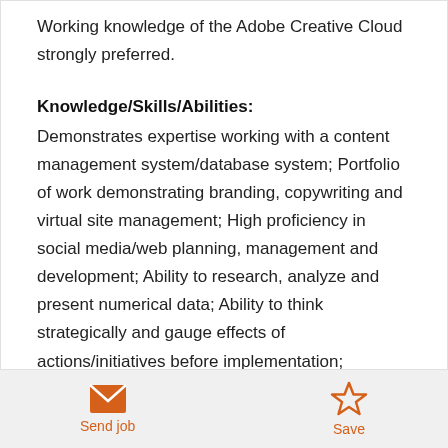Working knowledge of the Adobe Creative Cloud strongly preferred.
Knowledge/Skills/Abilities:
Demonstrates expertise working with a content management system/database system; Portfolio of work demonstrating branding, copywriting and virtual site management; High proficiency in social media/web planning, management and development; Ability to research, analyze and present numerical data; Ability to think strategically and gauge effects of actions/initiatives before implementation; Excellent
Send job   Save